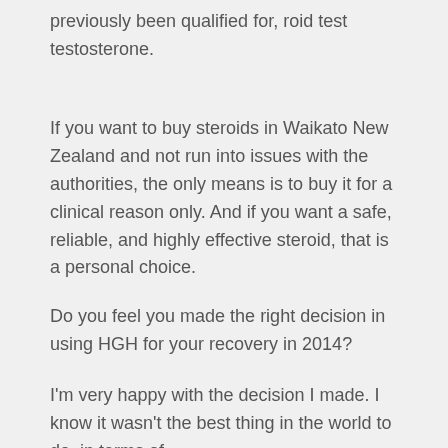previously been qualified for, roid test testosterone.
If you want to buy steroids in Waikato New Zealand and not run into issues with the authorities, the only means is to buy it for a clinical reason only. And if you want a safe, reliable, and highly effective steroid, that is a personal choice.
Do you feel you made the right decision in using HGH for your recovery in 2014?
I'm very happy with the decision I made. I know it wasn't the best thing in the world to do, in terms of